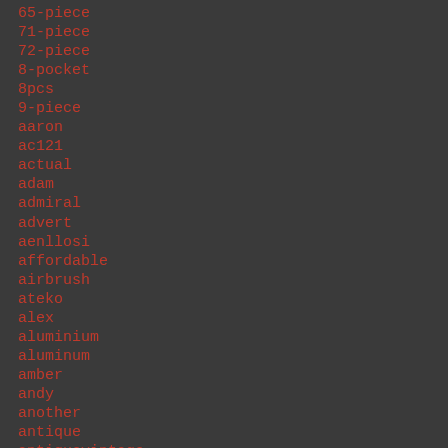65-piece
71-piece
72-piece
8-pocket
8pcs
9-piece
aaron
ac121
actual
adam
admiral
advert
aenllosi
affordable
airbrush
ateko
alex
aluminium
aluminum
amber
andy
another
antique
antiquevintage
antq
anvil